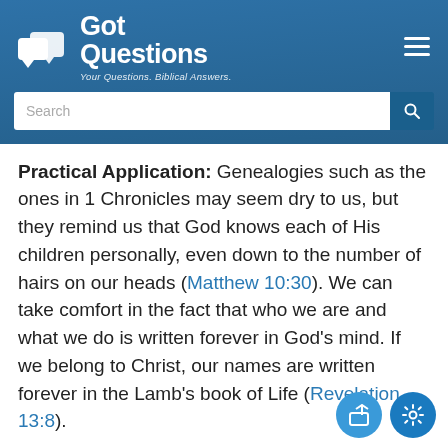Got Questions — Your Questions. Biblical Answers.
Practical Application: Genealogies such as the ones in 1 Chronicles may seem dry to us, but they remind us that God knows each of His children personally, even down to the number of hairs on our heads (Matthew 10:30). We can take comfort in the fact that who we are and what we do is written forever in God's mind. If we belong to Christ, our names are written forever in the Lamb's book of Life (Revelation 13:8).
God is faithful to His people and keeps His promise. In the Book of 1 Chronicles, we see the fulfillment of